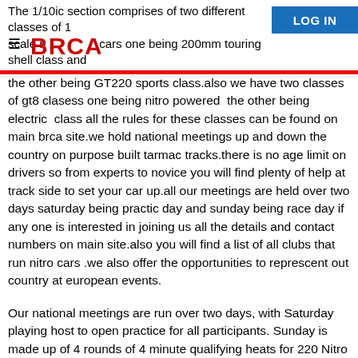The 1/10ic section comprises of two different classes of 1/10 scale nitro cars one being 200mm touring shell class and
[Figure (logo): BRCA logo in red letters]
the other being GT220 sports class.also we have two classes of gt8 clasess one being nitro powered the other being electric class all the rules for these classes can be found on main brca site.we hold national meetings up and down the country on purpose built tarmac tracks.there is no age limit on drivers so from experts to novice you will find plenty of help at track side to set your car up.all our meetings are held over two days saturday being practic day and sunday being race day if any one is interested in joining us all the details and contact numbers on main site.also you will find a list of all clubs that run nitro cars .we also offer the opportunities to represcent out country at european events.
Our national meetings are run over two days, with Saturday playing host to open practice for all participants. Sunday is made up of 4 rounds of 4 minute qualifying heats for 220 Nitro and 200 Nitro. GT8 Nitro and GT8 Electric have a 5 minute heat with a 2 minute warm up. Your best time from the heats deciding on which final you will be assigned to with the top 10 times earning the A